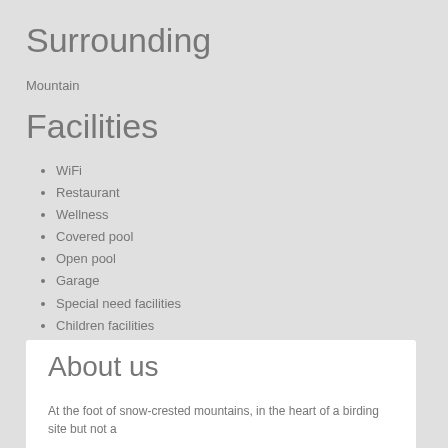Surrounding
Mountain
Facilities
WiFi
Restaurant
Wellness
Covered pool
Open pool
Garage
Special need facilities
Children facilities
Business center
About us
At the foot of snow-crested mountains, in the heart of a birding site but not a Meg...